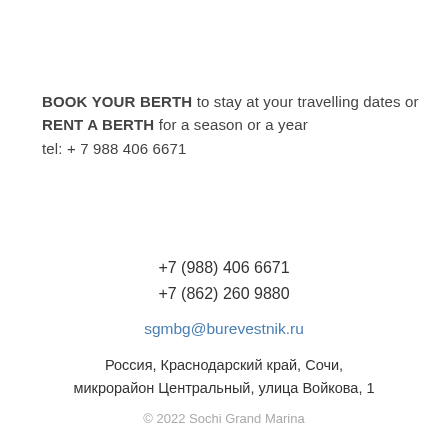BOOK YOUR BERTH to stay at your travelling dates or RENT A BERTH for a season or a year
tel: + 7 988 406 6671
+7 (988) 406 6671
+7 (862) 260 9880
sgmbg@burevestnik.ru
Россия, Краснодарский край, Сочи, микрорайон Центральный, улица Войкова, 1
© 2022 Sochi Grand Marina